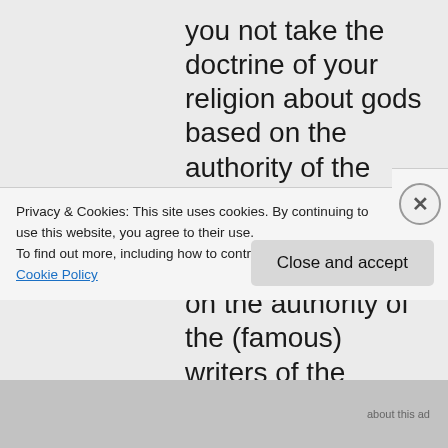you not take the doctrine of your religion about gods based on the authority of the ritual experts of your religion, or at very least based on the authority of the (famous) writers of the scriptures? If not
Privacy & Cookies: This site uses cookies. By continuing to use this website, you agree to their use.
To find out more, including how to control cookies, see here: Cookie Policy